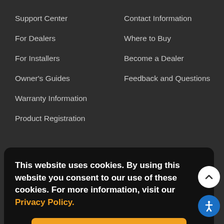Support Center
For Dealers
For Installers
Owner's Guides
Warranty Information
Product Registration
Contact Information
Where to Buy
Become a Dealer
Feedback and Questions
This website uses cookies. By using this website you consent to our use of these cookies. For more information, visit our Privacy Policy.
ACCEPT